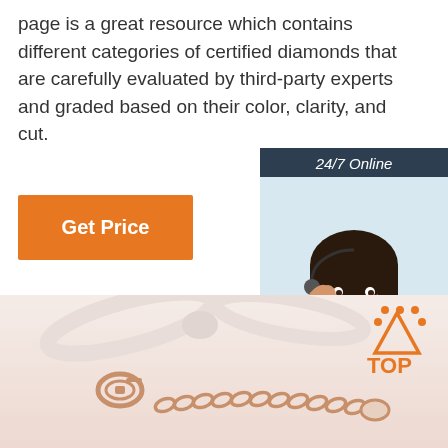page is a great resource which contains different categories of certified diamonds that are carefully evaluated by third-party experts and graded based on their color, clarity, and cut.
[Figure (other): Orange 'Get Price' button]
[Figure (other): Sidebar with '24/7 Online' label, photo of a woman with headset smiling, 'Click here for free chat!' text, and orange 'QUOTATION' button on dark navy background]
[Figure (photo): Background photo of rose gold jewelry chain clasp on a pink/cream background with a 'TOP' icon (orange with dots) in the bottom right corner]